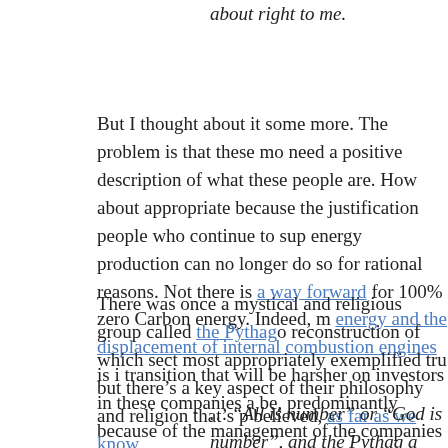about right to me.
But I thought about it some more. The problem is that these mo need a positive description of what these people are. How about appropriate because the justification people who continue to sup energy production can no longer do so for rational reasons. Not there is a way forward for 100% zero Carbon energy. Indeed, m energy and the displacement of internal combustion engines is i transition that will be harsher on investors in these companies a be, predominantly because of the management of the companies did not have to be that way, if we began changing in the 1990s.)
There was once a mystical and religious group called the Pythago reconstruction of which sect most appropriately exemplified tru but there's a key aspect of their philosophy and religion that's p believed, as far as we know,
… “All is number” or “God is number”, and the Pythag a kind of numerology or number worship, and considera